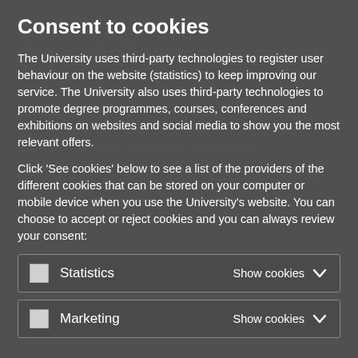Consent to cookies
The University uses third-party technologies to register user behaviour on the website (statistics) to keep improving our service. The University also uses third-party technologies to promote degree programmes, courses, conferences and exhibitions on websites and social media to show you the most relevant offers.
Click 'See cookies' below to see a list of the providers of the different cookies that can be stored on your computer or mobile device when you use the University's website. You can choose to accept or reject cookies and you can always review your consent:
Statistics — Show cookies
Marketing — Show cookies